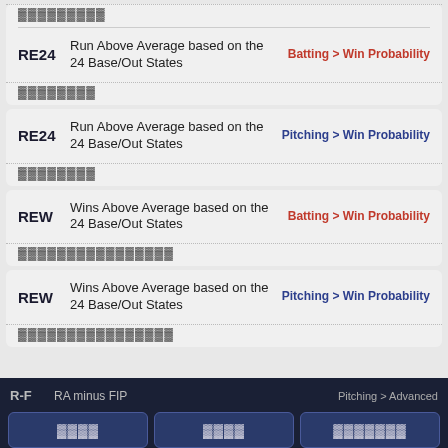RE24 | Run Above Average based on the 24 Base/Out States | Batting > Win Probability
RE24 | Run Above Average based on the 24 Base/Out States | Pitching > Win Probability
REW | Wins Above Average based on the 24 Base/Out States | Batting > Win Probability
REW | Wins Above Average based on the 24 Base/Out States | Pitching > Win Probability